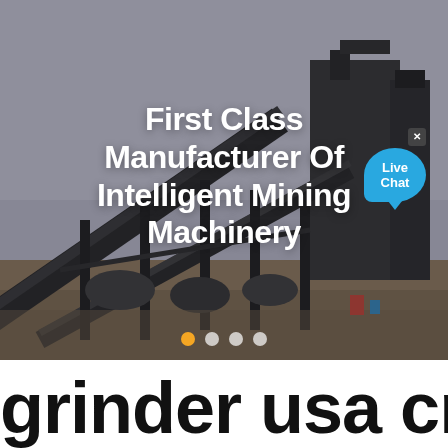[Figure (photo): Industrial mining facility with large conveyor belts, structural steel framework, and machinery at an open construction/mining site under an overcast sky.]
First Class Manufacturer Of Intelligent Mining Machinery
grinder usa crusher